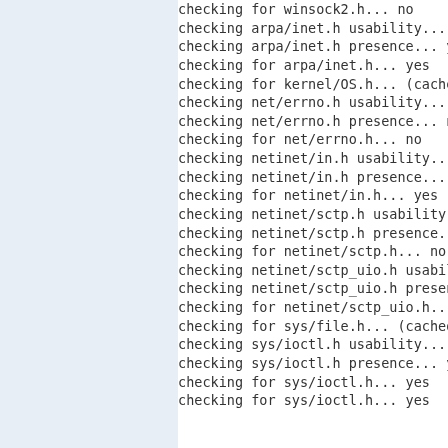checking for winsock2.h... no
checking arpa/inet.h usability... yes
checking arpa/inet.h presence... yes
checking for arpa/inet.h... yes
checking for kernel/OS.h... (cached) no
checking net/errno.h usability... no
checking net/errno.h presence... no
checking for net/errno.h... no
checking netinet/in.h usability... yes
checking netinet/in.h presence... yes
checking for netinet/in.h... yes
checking netinet/sctp.h usability... no
checking netinet/sctp.h presence... no
checking for netinet/sctp.h... no
checking netinet/sctp_uio.h usability... no
checking netinet/sctp_uio.h presence... no
checking for netinet/sctp_uio.h... no
checking for sys/file.h... (cached) yes
checking sys/ioctl.h usability... yes
checking sys/ioctl.h presence... yes
checking for sys/ioctl.h... yes